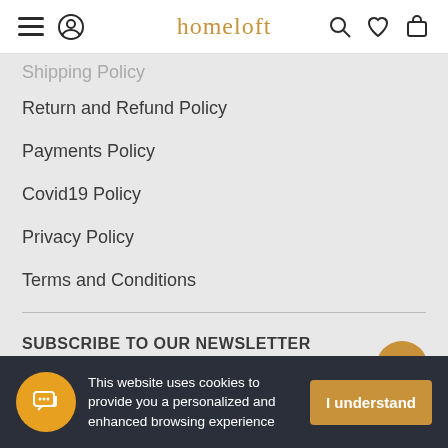homeloft — navigation header with menu, profile, search, wishlist, cart icons
Shipping Policy (partially visible)
Return and Refund Policy
Payments Policy
Covid19 Policy
Privacy Policy
Terms and Conditions
SUBSCRIBE TO OUR NEWSLETTER
Subscribe to our Newsletter to receive updates, access to exclusive deals, and more.
This website uses cookies to provide you a personalized and enhanced browsing experience